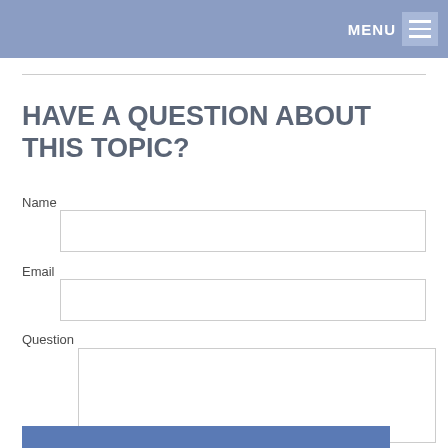MENU
HAVE A QUESTION ABOUT THIS TOPIC?
Name
Email
Question